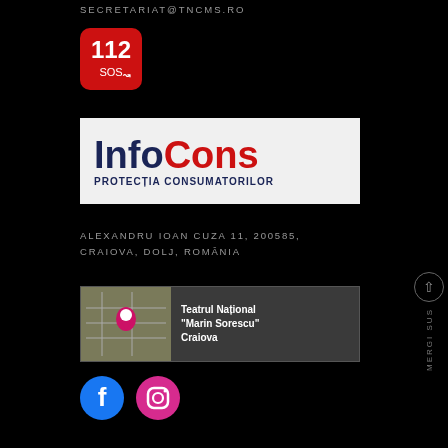SECRETARIAT@TNCMS.RO
[Figure (logo): 112 SOS emergency number logo — red rounded square with white bold 112 and SOS text]
[Figure (logo): InfoCons Protectia Consumatorilor logo — white background with Info in dark blue bold, Cons in red bold, subtitle PROTECTIA CONSUMATORILOR in dark navy]
ALEXANDRU IOAN CUZA 11, 200585, CRAIOVA, DOLJ, ROMÂNIA
[Figure (map): Google Maps snapshot showing location of Teatrul National Marin Sorescu Craiova with red pin and map background]
[Figure (illustration): Facebook circular blue icon and Instagram circular magenta/pink icon]
MERGI SUS